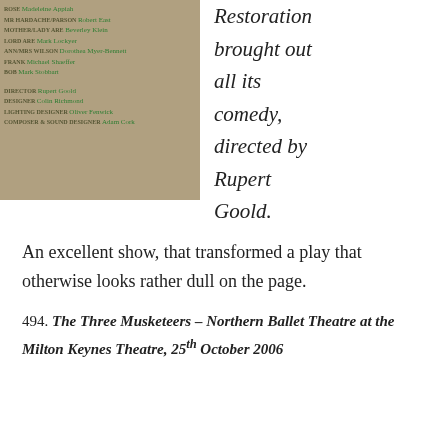[Figure (photo): Theatre programme image showing cast and crew credits for a restoration-era play, with a figure in period costume. Credits include: Rose Madeleine Appiah, Mr Hardache/Parson Robert East, Mother/Lady Are Beverley Klein, Lord Are Mark Lockyer, Ann/Mrs Wilson Dorothea Myer-Bennett, Frank Michael Shaeffer, Bob Mark Stobbart. Director Rupert Goold, Designer Colin Richmond, Lighting Designer Oliver Fenwick, Composer & Sound Designer Adam Cork.]
Restoration brought out all its comedy, directed by Rupert Goold. An excellent show, that transformed a play that otherwise looks rather dull on the page.
494. The Three Musketeers – Northern Ballet Theatre at the Milton Keynes Theatre, 25th October 2006